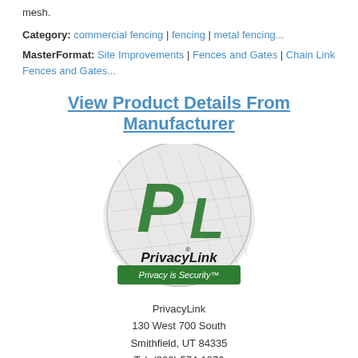mesh.
Category: commercial fencing | fencing | metal fencing...
MasterFormat: Site Improvements | Fences and Gates | Chain Link Fences and Gates...
View Product Details From Manufacturer
[Figure (logo): PrivacyLink circular logo with green PL letters and chain link fence background, tagline 'Privacy is Security']
PrivacyLink
130 West 700 South
Smithfield, UT 84335
Tel: (800) 574-1076
Fax: (435) 563-1062